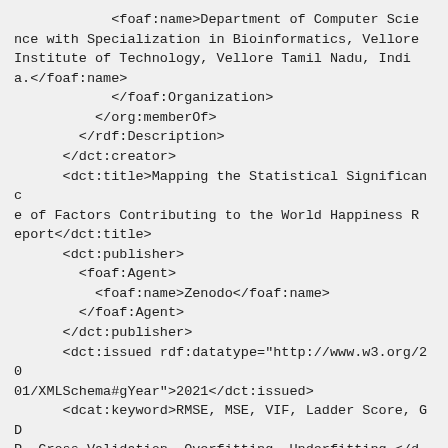<foaf:name>Department of Computer Science with Specialization in Bioinformatics, Vellore Institute of Technology, Vellore Tamil Nadu, India.</foaf:name>
            </foaf:Organization>
          </org:memberOf>
        </rdf:Description>
      </dct:creator>
      <dct:title>Mapping the Statistical Significance of Factors Contributing to the World Happiness Report</dct:title>
      <dct:publisher>
        <foaf:Agent>
          <foaf:name>Zenodo</foaf:name>
        </foaf:Agent>
      </dct:publisher>
      <dct:issued rdf:datatype="http://www.w3.org/2001/XMLSchema#gYear">2021</dct:issued>
      <dcat:keyword>RMSE, MSE, VIF, Ladder Score, GDP, Cross Validation, Overfitting, Underfitting.</dcat:keyword>
      <dct:subject>
        <skos:Concept>
          <skos:prefLabel>2249-8958</skos:prefLabel>